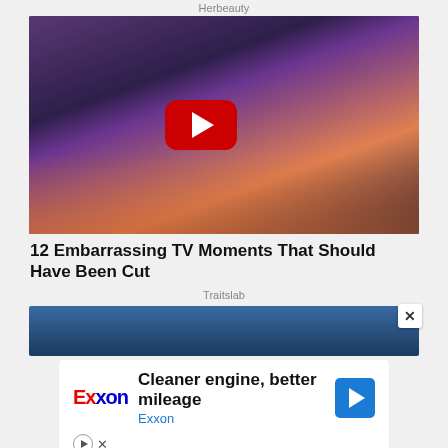Herbeauty
[Figure (screenshot): Video thumbnail showing a TV show scene with a man in a suit and a blonde woman showing her midriff, with a YouTube play button overlay on a purple/city background]
12 Embarrassing TV Moments That Should Have Been Cut
Traitslab
[Figure (screenshot): Partial thumbnail of second article showing dark blue water/background with a figure]
[Figure (other): Exxon advertisement: Cleaner engine, better mileage. Exxon logo, navigation arrow icon, and media control icons.]